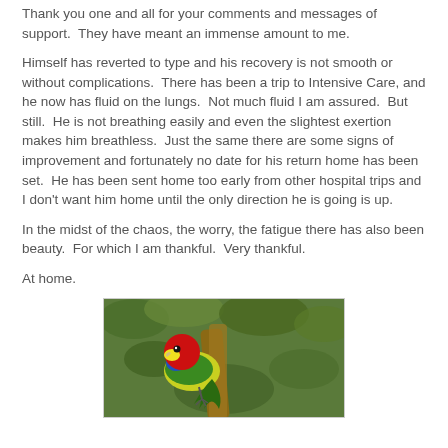Thank you one and all for your comments and messages of support.  They have meant an immense amount to me.
Himself has reverted to type and his recovery is not smooth or without complications.  There has been a trip to Intensive Care, and he now has fluid on the lungs.  Not much fluid I am assured.  But still.  He is not breathing easily and even the slightest exertion makes him breathless.  Just the same there are some signs of improvement and fortunately no date for his return home has been set.  He has been sent home too early from other hospital trips and I don't want him home until the only direction he is going is up.
In the midst of the chaos, the worry, the fatigue there has also been beauty.  For which I am thankful.  Very thankful.
At home.
[Figure (photo): A colorful parrot (eastern rosella) perched on a tree branch, with red head and green/yellow body, against a green leafy background.]